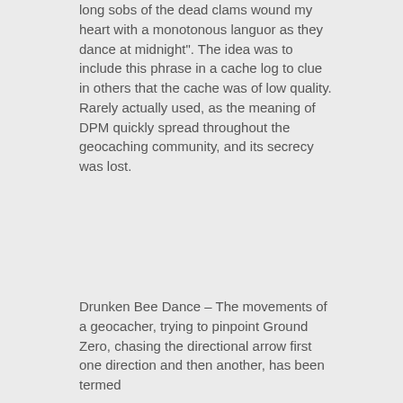long sobs of the dead clams wound my heart with a monotonous languor as they dance at midnight". The idea was to include this phrase in a cache log to clue in others that the cache was of low quality. Rarely actually used, as the meaning of DPM quickly spread throughout the geocaching community, and its secrecy was lost.
Drunken Bee Dance – The movements of a geocacher, trying to pinpoint Ground Zero, chasing the directional arrow first one direction and then another, has been termed the Drunken Bee...